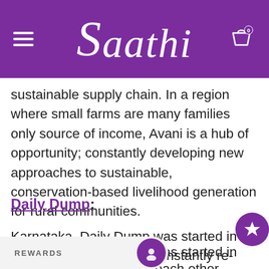Saathi
sustainable supply chain. In a region where small farms are many families only source of income, Avani is a hub of opportunity; constantly developing new approaches to sustainable, conservation-based livelihood generation for rural communities.
Daily Dump:
Karnataka, Daily Dump was started in 2006, with the vision to constantly re-imagine [the] earth, with each other and with urban spaces. Essentially, they are in